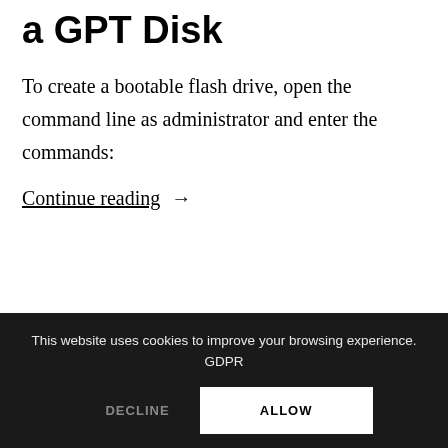a GPT Disk
To create a bootable flash drive, open the command line as administrator and enter the commands:
Continue reading →
This website uses cookies to improve your browsing experience. GDPR
DECLINE
ALLOW